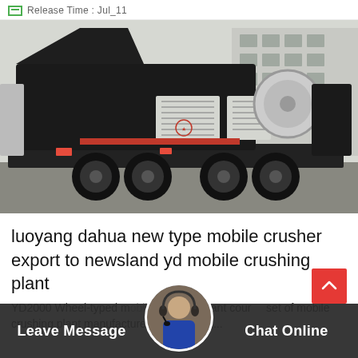Release Time : Jul_11
[Figure (photo): A large black mobile crusher plant mounted on a truck trailer, parked in an industrial yard with factory buildings in the background.]
luoyang dahua new type mobile crusher export to newsland yd mobile crushing plant
YD2000 Wheel-typed mobile crushing plant course set of mobile crushing plant manufactured by Luoyang...
Leave Message   Chat Online